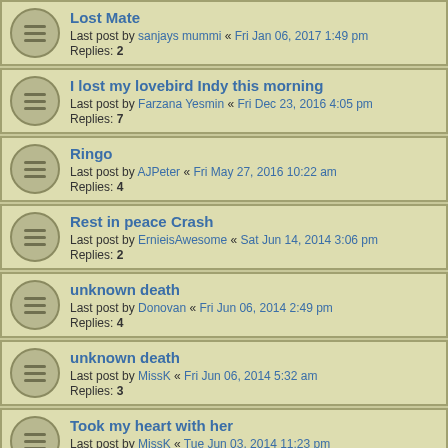Lost Mate — Last post by sanjays mummi « Fri Jan 06, 2017 1:49 pm — Replies: 2
I lost my lovebird Indy this morning — Last post by Farzana Yesmin « Fri Dec 23, 2016 4:05 pm — Replies: 7
Ringo — Last post by AJPeter « Fri May 27, 2016 10:22 am — Replies: 4
Rest in peace Crash — Last post by ErnieisAwesome « Sat Jun 14, 2014 3:06 pm — Replies: 2
unknown death — Last post by Donovan « Fri Jun 06, 2014 2:49 pm — Replies: 4
unknown death — Last post by MissK « Fri Jun 06, 2014 5:32 am — Replies: 3
Took my heart with her — Last post by MissK « Tue Jun 03, 2014 11:23 pm — Replies: 2
lost of Bluey — Last post by Angie « Sun Apr 13, 2014 8:51 am